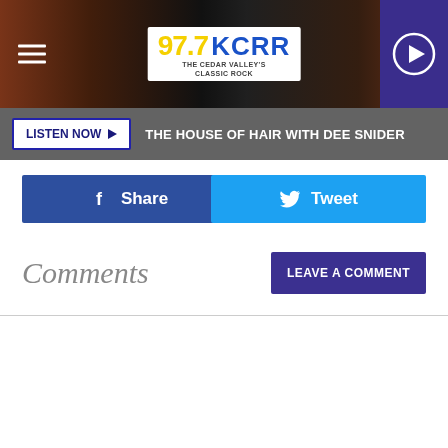97.7 KCRR — The Cedar Valley's Classic Rock
LISTEN NOW ▶  THE HOUSE OF HAIR WITH DEE SNIDER
Share
Tweet
Comments
LEAVE A COMMENT